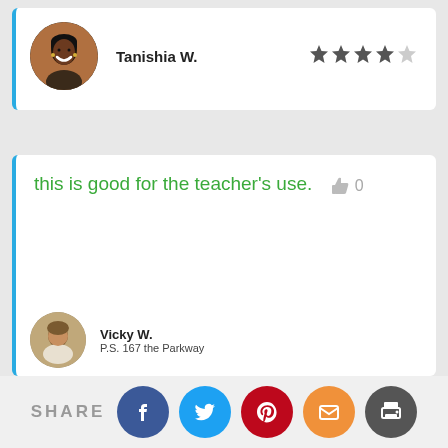Tanishia W.
[Figure (other): Star rating: 4 out of 5 stars]
this is good for the teacher's use.
Vicky W.
P.S. 167 the Parkway
[Figure (infographic): Share bar with Facebook, Twitter, Pinterest, Email, Print buttons]